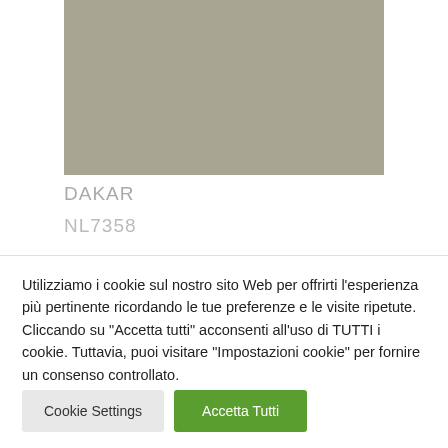[Figure (other): Color swatch block in muted khaki/grey-green tone labeled DAKAR NL7358]
DAKAR
NL7358
Utilizziamo i cookie sul nostro sito Web per offrirti l'esperienza più pertinente ricordando le tue preferenze e le visite ripetute. Cliccando su "Accetta tutti" acconsenti all'uso di TUTTI i cookie. Tuttavia, puoi visitare "Impostazioni cookie" per fornire un consenso controllato.
Cookie Settings
Accetta Tutti